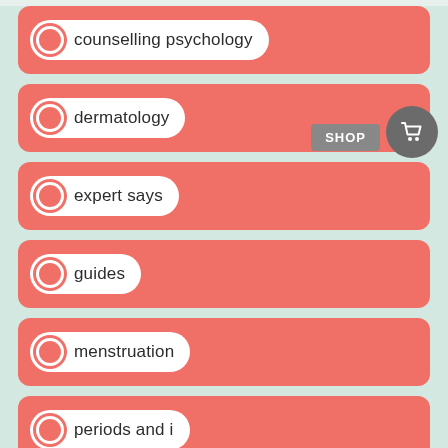counselling psychology
dermatology
expert says
guides
menstruation
periods and i
post pregnancy
routines